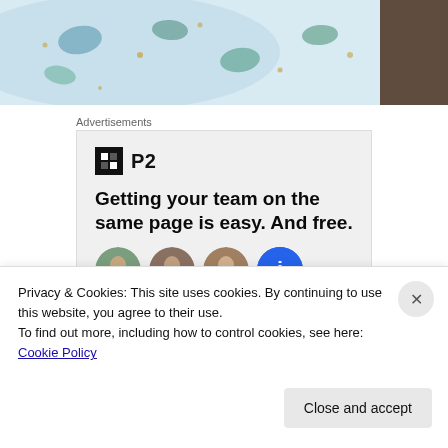[Figure (photo): Fabric/textile with unicorn pattern in teal, navy, and gold on white background]
Advertisements
[Figure (other): P2 advertisement: logo with black square icon and P2 text, headline reading 'Getting your team on the same page is easy. And free.' with four avatar circles below]
Privacy & Cookies: This site uses cookies. By continuing to use this website, you agree to their use.
To find out more, including how to control cookies, see here: Cookie Policy